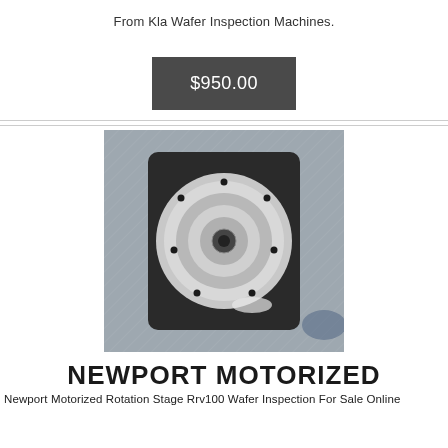From Kla Wafer Inspection Machines.
$950.00
[Figure (photo): Top-down view of a Newport motorized rotation stage (RRV100 or similar), showing a circular machined aluminum disc with concentric rings and mounting holes on a textured metallic background.]
NEWPORT MOTORIZED
Newport Motorized Rotation Stage Rrv100 Wafer Inspection For Sale Online